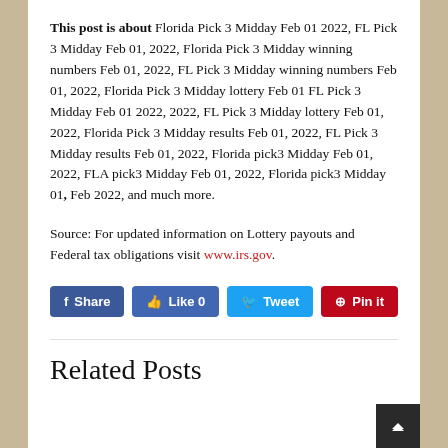This post is about Florida Pick 3 Midday Feb 01 2022, FL Pick 3 Midday Feb 01, 2022, Florida Pick 3 Midday winning numbers Feb 01, 2022, FL Pick 3 Midday winning numbers Feb 01, 2022, Florida Pick 3 Midday lottery Feb 01 FL Pick 3 Midday Feb 01 2022, 2022, FL Pick 3 Midday lottery Feb 01, 2022, Florida Pick 3 Midday results Feb 01, 2022, FL Pick 3 Midday results Feb 01, 2022, Florida pick3 Midday Feb 01, 2022, FLA pick3 Midday Feb 01, 2022, Florida pick3 Midday 01, Feb 2022, and much more.
Source: For updated information on Lottery payouts and Federal tax obligations visit www.irs.gov.
[Figure (other): Social sharing buttons: Share (Facebook), Like 0 (Facebook), Tweet (Twitter), Pin it (Pinterest)]
Related Posts